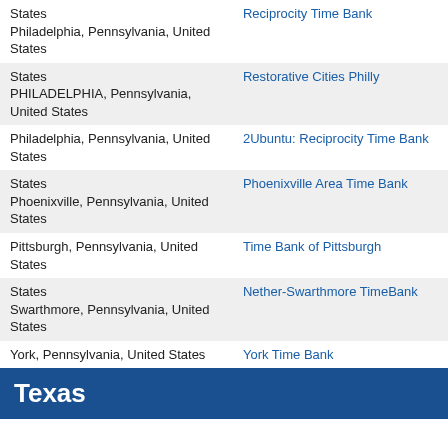| Location | Name |
| --- | --- |
| States
Philadelphia, Pennsylvania, United States | Reciprocity Time Bank |
| States
PHILADELPHIA, Pennsylvania,
United States | Restorative Cities Philly |
| Philadelphia, Pennsylvania, United States | 2Ubuntu: Reciprocity Time Bank |
| States
Phoenixville, Pennsylvania, United States | Phoenixville Area Time Bank |
| Pittsburgh, Pennsylvania, United States | Time Bank of Pittsburgh |
| States
Swarthmore, Pennsylvania, United States | Nether-Swarthmore TimeBank |
| York, Pennsylvania, United States | York Time Bank |
Texas
| Location | Name |
| --- | --- |
| Denton, Texas, United States | Denton Time Exchange |
| San Antonio, Texas, United States | Puro TimeBank SA |
Virginia
| Location | Name |
| --- | --- |
| Blacksburg, Virginia, United States | New River Valley TimeBank |
| Centreville, Virginia, United States | Blue Victory Citizenship Exchange |